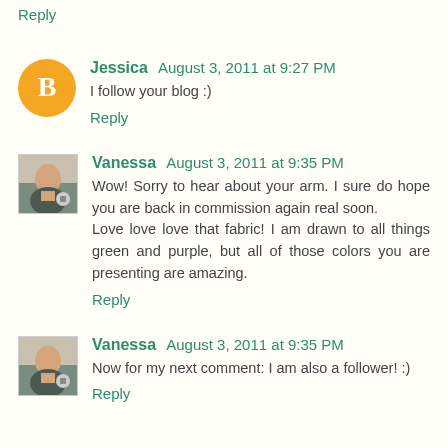Reply
Jessica  August 3, 2011 at 9:27 PM
I follow your blog :)
Reply
Vanessa  August 3, 2011 at 9:35 PM
Wow! Sorry to hear about your arm. I sure do hope you are back in commission again real soon.
Love love love that fabric! I am drawn to all things green and purple, but all of those colors you are presenting are amazing.
Reply
Vanessa  August 3, 2011 at 9:35 PM
Now for my next comment: I am also a follower! :)
Reply